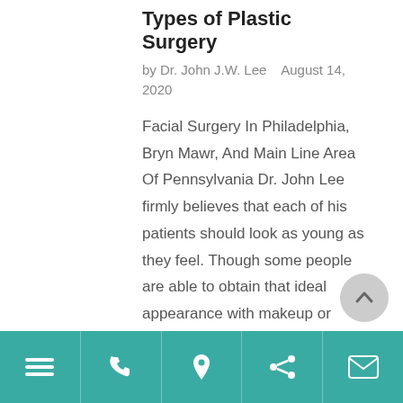Types of Plastic Surgery
by Dr. John J.W. Lee    August 14, 2020
Facial Surgery In Philadelphia, Bryn Mawr, And Main Line Area Of Pennsylvania Dr. John Lee firmly believes that each of his patients should look as young as they feel. Though some people are able to obtain that ideal appearance with makeup or minimally invasive